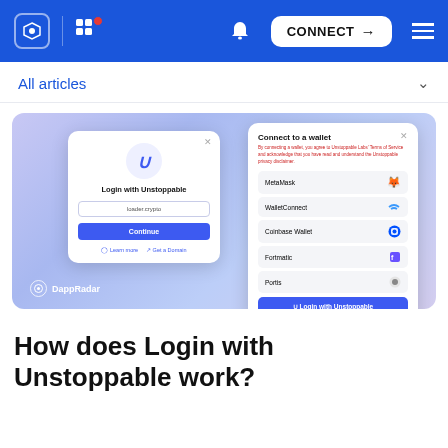Navigation bar with logo, grid icon, bell, CONNECT button, and menu
All articles
[Figure (screenshot): Screenshot showing Login with Unstoppable modal and Connect to a wallet modal on DappRadar, with options for MetaMask, WalletConnect, Coinbase Wallet, Fortmatic, Portis, and Login with Unstoppable button]
How does Login with Unstoppable work?